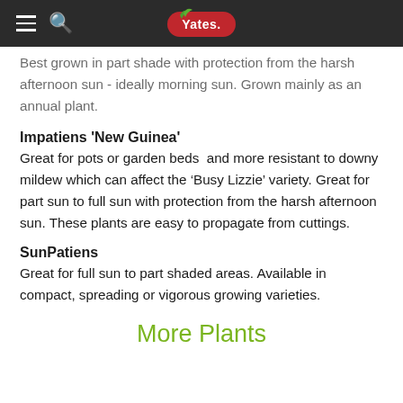Yates (logo with hamburger menu and search icon)
Best grown in part shade with protection from the harsh afternoon sun - ideally morning sun. Grown mainly as an annual plant.
Impatiens 'New Guinea'
Great for pots or garden beds and more resistant to downy mildew which can affect the ‘Busy Lizzie’ variety. Great for part sun to full sun with protection from the harsh afternoon sun. These plants are easy to propagate from cuttings.
SunPatiens
Great for full sun to part shaded areas. Available in compact, spreading or vigorous growing varieties.
More Plants